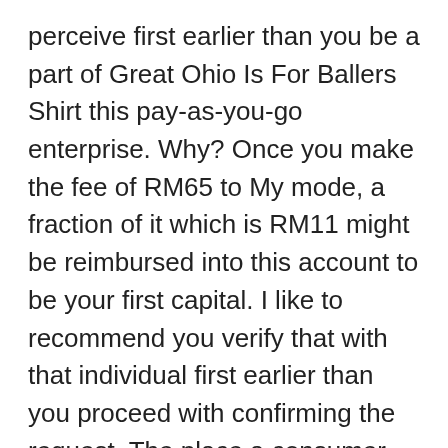perceive first earlier than you be a part of Great Ohio Is For Ballers Shirt this pay-as-you-go enterprise. Why? Once you make the fee of RM65 to My mode, a fraction of it which is RM11 might be reimbursed into this account to be your first capital. I like to recommend you verify that with that individual first earlier than you proceed with confirming the request. The place a consumer enterprise is hosted securely and customers can enter when login to the appliance from residence, journey, or cafe.
If you happen to see different numbers, don't fear a lot about its attainable Great Ohio Is For Ballers Shirt that the one who launched My mode to you has a better plan and determined to put you beneath one among his present sponsored members. Within the